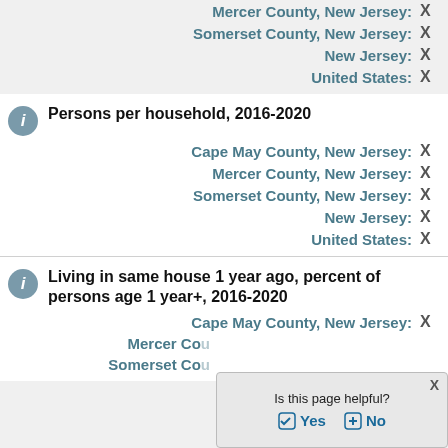Mercer County, New Jersey: X
Somerset County, New Jersey: X
New Jersey: X
United States: X
Persons per household, 2016-2020
Cape May County, New Jersey: X
Mercer County, New Jersey: X
Somerset County, New Jersey: X
New Jersey: X
United States: X
Living in same house 1 year ago, percent of persons age 1 year+, 2016-2020
Cape May County, New Jersey: X
Mercer County, New Jersey: X
Somerset County, New Jersey: X
[Figure (screenshot): Popup dialog asking 'Is this page helpful?' with Yes and No buttons and an X close button]